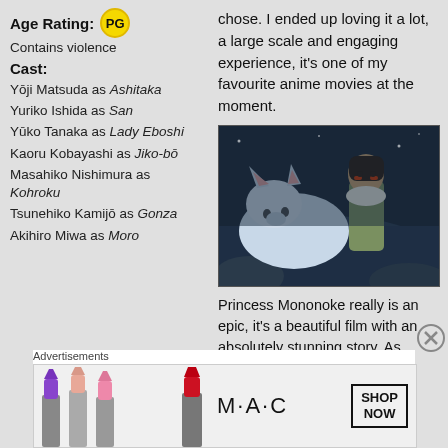Age Rating: PG
Contains violence
Cast:
Yōji Matsuda as Ashitaka
Yuriko Ishida as San
Yūko Tanaka as Lady Eboshi
Kaoru Kobayashi as Jiko-bō
Masahiko Nishimura as Kohroku
Tsunehiko Kamijō as Gonza
Akihiro Miwa as Moro
chose. I ended up loving it a lot, a large scale and engaging experience, it's one of my favourite anime movies at the moment.
[Figure (photo): Scene from Princess Mononoke anime film showing San (Princess Mononoke) with a white wolf]
Princess Mononoke really is an epic, it's a beautiful film with an absolutely stunning story. As
[Figure (other): MAC cosmetics advertisement showing lipsticks with SHOP NOW button]